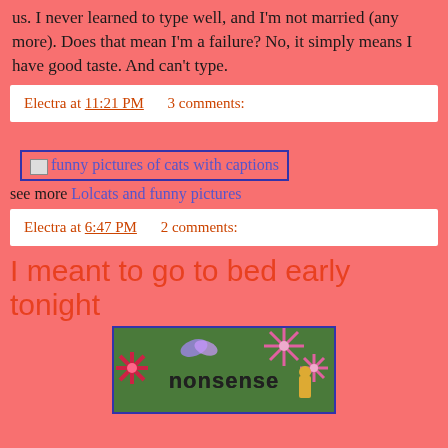us. I never learned to type well, and I'm not married (any more). Does that mean I'm a failure? No, it simply means I have good taste. And can't type.
Electra at 11:21 PM    3 comments:
[Figure (other): Linked image with border: funny pictures of cats with captions]
see more Lolcats and funny pictures
Electra at 6:47 PM    2 comments:
I meant to go to bed early tonight
[Figure (illustration): Colorful illustration with flowers and text reading 'nonsense', blue border]